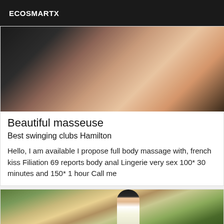ECOSMARTX
[Figure (photo): Close-up blurred photo with warm skin tones against dark background]
Beautiful masseuse
Best swinging clubs Hamilton
Hello, I am available I propose full body massage with, french kiss Filiation 69 reports body anal Lingerie very sex 100* 30 minutes and 150* 1 hour Call me
[Figure (photo): Woman with long dark hair posing outdoors among trees]